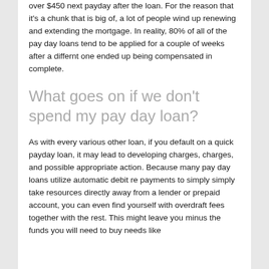over $450 next payday after the loan. For the reason that it's a chunk that is big of, a lot of people wind up renewing and extending the mortgage. In reality, 80% of all of the pay day loans tend to be applied for a couple of weeks after a differnt one ended up being compensated in complete.
What goes on if we don't spend my pay day loan?
As with every various other loan, if you default on a quick payday loan, it may lead to developing charges, charges, and possible appropriate action. Because many pay day loans utilize automatic debit re payments to simply simply take resources directly away from a lender or prepaid account, you can even find yourself with overdraft fees together with the rest. This might leave you minus the funds you will need to buy needs like